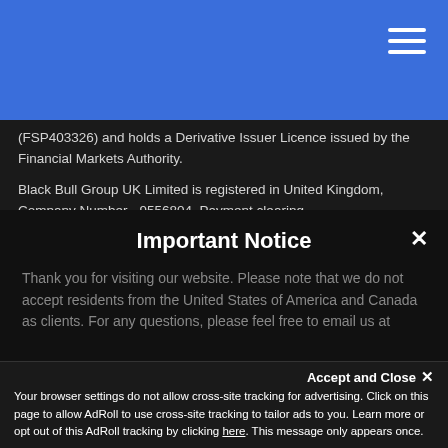(FSP403326) and holds a Derivative Issuer Licence issued by the Financial Markets Authority.

Black Bull Group UK Limited is registered in United Kingdom, Company Number - 9556804. Payment clearing
Important Notice
Thank you for visiting our website. Please note that we do not accept residents from the United States of America and Canada as clients. For any questions, please feel free to email us at
Accept and Close ×
Your browser settings do not allow cross-site tracking for advertising. Click on this page to allow AdRoll to use cross-site tracking to tailor ads to you. Learn more or opt out of this AdRoll tracking by clicking here. This message only appears once.